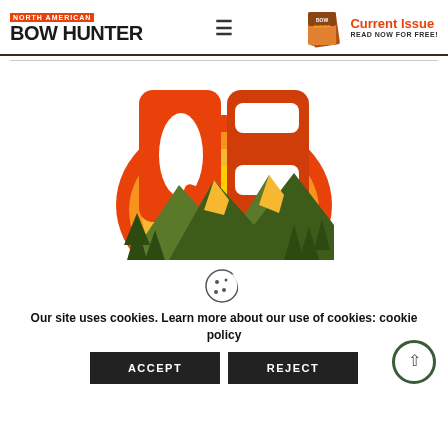North American BOW HUNTER — Current Issue READ NOW FOR FREE!
[Figure (logo): QS outdoor brand logo — large orange letters Q and S with mountain and pine tree silhouette graphic and sunset rays]
[Figure (illustration): Cookie consent icon — cookie with bite taken out]
Our site uses cookies. Learn more about our use of cookies: cookie policy
ACCEPT
REJECT